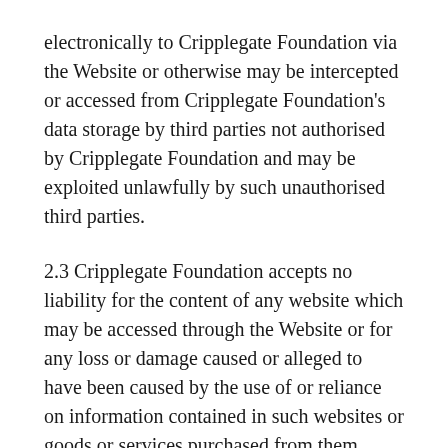electronically to Cripplegate Foundation via the Website or otherwise may be intercepted or accessed from Cripplegate Foundation's data storage by third parties not authorised by Cripplegate Foundation and may be exploited unlawfully by such unauthorised third parties.
2.3 Cripplegate Foundation accepts no liability for the content of any website which may be accessed through the Website or for any loss or damage caused or alleged to have been caused by the use of or reliance on information contained in such websites or goods or services purchased from them. Connected websites accessed through the Website are independent websites over which Cripplegate Foundation does not exercise any control whether financial, editorial